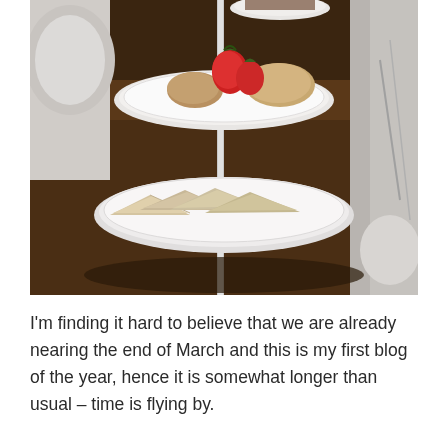[Figure (photo): A photograph of a tiered afternoon tea stand on a wooden table, showing sandwiches on the lower tier and scones with strawberries on the upper tier. Glasses and plates are visible in the background.]
I'm finding it hard to believe that we are already nearing the end of March and this is my first blog of the year, hence it is somewhat longer than usual – time is flying by.